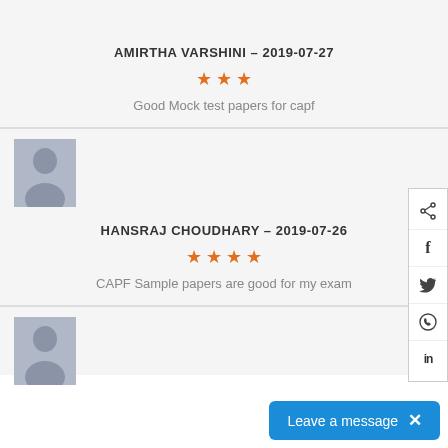AMIRTHA VARSHINI – 2019-07-27
★★★ (3 stars)
Good Mock test papers for capf
[Figure (photo): User avatar placeholder image for Hansraj Choudhary]
HANSRAJ CHOUDHARY – 2019-07-26
★★★★ (4 stars)
CAPF Sample papers are good for my exam
[Figure (photo): User avatar placeholder image at bottom]
Leave a message  ×